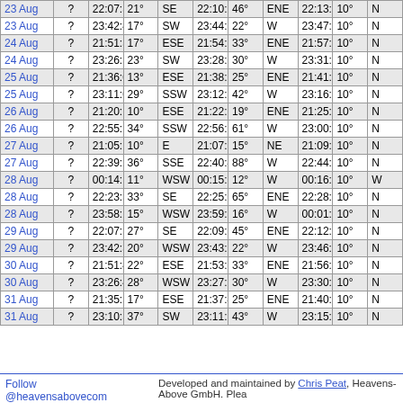| Date | ? | Time | ° | Dir | Time | ° | Dir | Time | ° | N |
| --- | --- | --- | --- | --- | --- | --- | --- | --- | --- | --- |
| 23 Aug | ? | 22:07:50 | 21° | SE | 22:10:04 | 46° | ENE | 22:13:41 | 10° | N |
| 23 Aug | ? | 23:42:47 | 17° | SW | 23:44:18 | 22° | W | 23:47:17 | 10° | N |
| 24 Aug | ? | 21:51:59 | 17° | ESE | 21:54:20 | 33° | ENE | 21:57:46 | 10° | N |
| 24 Aug | ? | 23:26:56 | 23° | SW | 23:28:23 | 30° | W | 23:31:45 | 10° | N |
| 25 Aug | ? | 21:36:08 | 13° | ESE | 21:38:38 | 25° | ENE | 21:41:46 | 10° | N |
| 25 Aug | ? | 23:11:05 | 29° | SSW | 23:12:30 | 42° | W | 23:16:07 | 10° | N |
| 26 Aug | ? | 21:20:18 | 10° | ESE | 21:22:59 | 19° | ENE | 21:25:41 | 10° | N |
| 26 Aug | ? | 22:55:13 | 34° | SSW | 22:56:39 | 61° | W | 23:00:23 | 10° | N |
| 27 Aug | ? | 21:05:14 | 10° | E | 21:07:20 | 15° | NE | 21:09:27 | 10° | N |
| 27 Aug | ? | 22:39:22 | 36° | SSE | 22:40:49 | 88° | W | 22:44:36 | 10° | N |
| 28 Aug | ? | 00:14:18 | 11° | WSW | 00:15:27 | 12° | W | 00:16:50 | 10° | W |
| 28 Aug | ? | 22:23:30 | 33° | SE | 22:25:02 | 65° | ENE | 22:28:46 | 10° | N |
| 28 Aug | ? | 23:58:27 | 15° | WSW | 23:59:27 | 16° | W | 00:01:52 | 10° | N |
| 29 Aug | ? | 22:07:38 | 27° | SE | 22:09:15 | 45° | ENE | 22:12:52 | 10° | N |
| 29 Aug | ? | 23:42:34 | 20° | WSW | 23:43:29 | 22° | W | 23:46:29 | 10° | N |
| 30 Aug | ? | 21:51:46 | 22° | ESE | 21:53:31 | 33° | ENE | 21:56:55 | 10° | N |
| 30 Aug | ? | 23:26:43 | 28° | WSW | 23:27:32 | 30° | W | 23:30:55 | 10° | N |
| 31 Aug | ? | 21:35:54 | 17° | ESE | 21:37:47 | 25° | ENE | 21:40:54 | 10° | N |
| 31 Aug | ? | 23:10:50 | 37° | SW | 23:11:38 | 43° | W | 23:15:15 | 10° | N |
Follow @heavensabovecom   Developed and maintained by Chris Peat, Heavens-Above GmbH. Plea...